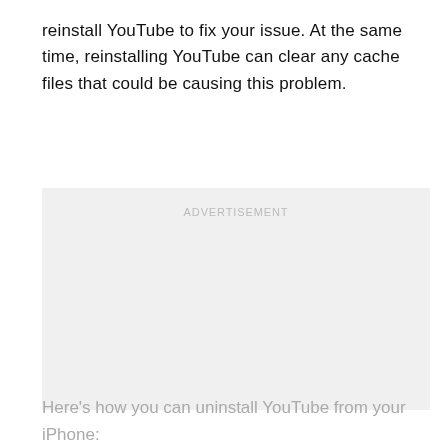reinstall YouTube to fix your issue. At the same time, reinstalling YouTube can clear any cache files that could be causing this problem.
[Figure (other): Advertisement placeholder box with light gray background and centered 'ADVERTISEMENT' label text]
Here's how you can uninstall YouTube from your iPhone: